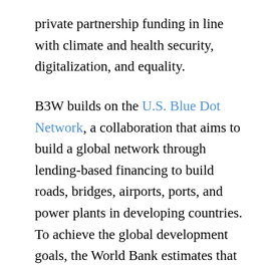private partnership funding in line with climate and health security, digitalization, and equality.
B3W builds on the U.S. Blue Dot Network, a collaboration that aims to build a global network through lending-based financing to build roads, bridges, airports, ports, and power plants in developing countries. To achieve the global development goals, the World Bank estimates that around $1.5 trillion per year should be invested in infrastructure. This is why it should be based on a coordinated plan. Different partners will certainly have different geographic and economic orientations, but the sum of the coordinated initiatives will make it possible to